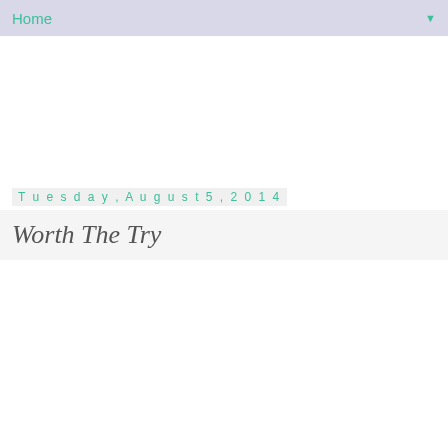Home ▼
Tuesday, August 5, 2014
Worth The Try